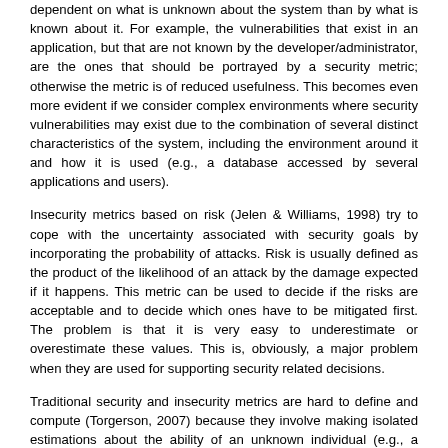dependent on what is unknown about the system than by what is known about it. For example, the vulnerabilities that exist in an application, but that are not known by the developer/administrator, are the ones that should be portrayed by a security metric; otherwise the metric is of reduced usefulness. This becomes even more evident if we consider complex environments where security vulnerabilities may exist due to the combination of several distinct characteristics of the system, including the environment around it and how it is used (e.g., a database accessed by several applications and users).
Insecurity metrics based on risk (Jelen & Williams, 1998) try to cope with the uncertainty associated with security goals by incorporating the probability of attacks. Risk is usually defined as the product of the likelihood of an attack by the damage expected if it happens. This metric can be used to decide if the risks are acceptable and to decide which ones have to be mitigated first. The problem is that it is very easy to underestimate or overestimate these values. This is, obviously, a major problem when they are used for supporting security related decisions.
Traditional security and insecurity metrics are hard to define and compute (Torgerson, 2007) because they involve making isolated estimations about the ability of an unknown individual (e.g., a hacker) to discover and maliciously exploit an unknown system characteristic (e.g., vulnerability). In practice, it is assumed that such metrics can be computed using information about the system itself, and they depend only on the systems properties. Therefore, they are universal and have the same value when seen from different perspectives (e.g., the administrators' versus the attackers' point of view). In spite of the usefulness of such metrics, they are not necessarily the only way of quantifying security aspects.